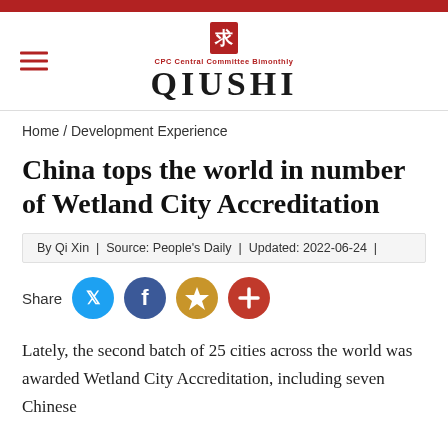QIUSHI — CPC Central Committee Bimonthly
Home / Development Experience
China tops the world in number of Wetland City Accreditation
By Qi Xin  |  Source: People's Daily  |  Updated: 2022-06-24  |
Share
Lately, the second batch of 25 cities across the world was awarded Wetland City Accreditation, including seven Chinese